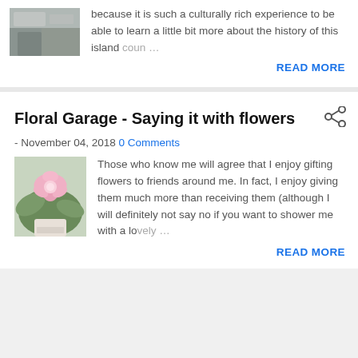because it is such a culturally rich experience to be able to learn a little bit more about the history of this island coun …
READ MORE
Floral Garage - Saying it with flowers
- November 04, 2018 0 Comments
Those who know me will agree that I enjoy gifting flowers to friends around me. In fact, I enjoy giving them much more than receiving them (although I will definitely not say no if you want to shower me with a lovely …
READ MORE